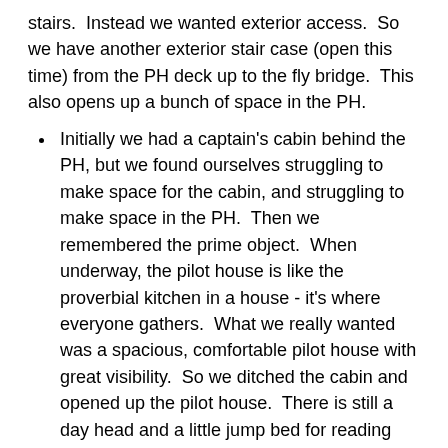stairs.  Instead we wanted exterior access.  So we have another exterior stair case (open this time) from the PH deck up to the fly bridge.  This also opens up a bunch of space in the PH.
Initially we had a captain's cabin behind the PH, but we found ourselves struggling to make space for the cabin, and struggling to make space in the PH.  Then we remembered the prime object.  When underway, the pilot house is like the proverbial kitchen in a house - it's where everyone gathers.  What we really wanted was a spacious, comfortable pilot house with great visibility.  So we ditched the cabin and opened up the pilot house.  There is still a day head and a little jump bed for reading and napping, but that's all.  And we now have neatly 360 deg visibility which is a huge bonus for taking in the sights.
For the main engine, we are going with a Scania DI-13 instead of the more common John Deere.  More on this later, including the other alternatives